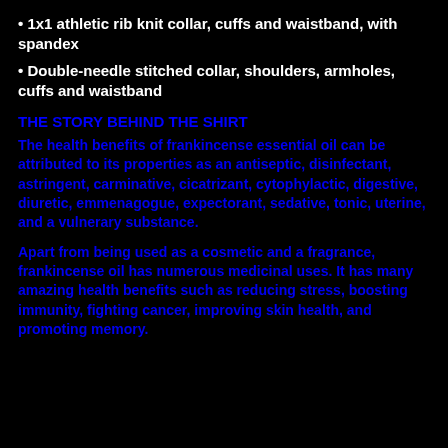1x1 athletic rib knit collar, cuffs and waistband, with spandex
Double-needle stitched collar, shoulders, armholes, cuffs and waistband
THE STORY BEHIND THE SHIRT
The health benefits of frankincense essential oil can be attributed to its properties as an antiseptic, disinfectant, astringent, carminative, cicatrizant, cytophylactic, digestive, diuretic, emmenagogue, expectorant, sedative, tonic, uterine, and a vulnerary substance.
Apart from being used as a cosmetic and a fragrance, frankincense oil has numerous medicinal uses. It has many amazing health benefits such as reducing stress, boosting immunity, fighting cancer, improving skin health, and promoting memory.